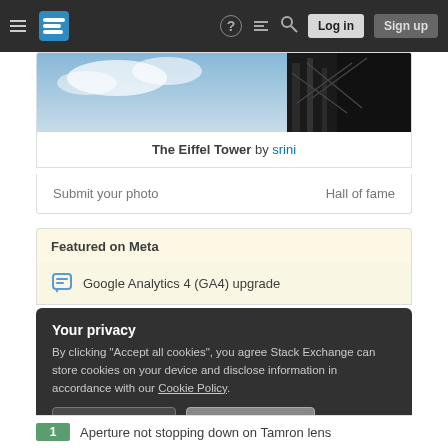Navigation bar with logo, Log in and Sign up buttons
[Figure (photo): Partial photo of the Eiffel Tower against a cloudy blue sky, top portion visible]
The Eiffel Tower by srini
Submit your photo    Hall of fame
Featured on Meta
Google Analytics 4 (GA4) upgrade
Your privacy
By clicking "Accept all cookies", you agree Stack Exchange can store cookies on your device and disclose information in accordance with our Cookie Policy.
Accept all cookies   Customize settings
1   Aperture not stopping down on Tamron lens